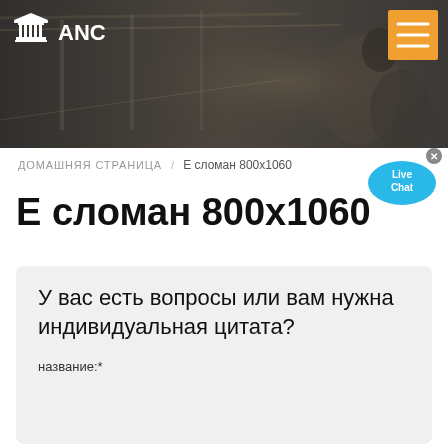[Figure (photo): Industrial/conference hall background photo used as website header banner with dark overlay. Logo 'ANC' with building icon on left, orange hamburger menu button on right.]
ДОМАШНЯЯ СТРАНИЦА / Е сломан 800х1060
[Figure (infographic): Live Chat speech bubble widget, blue color with white text 'Live Chat' and close X button]
Е сломан 800х1060
У вас есть вопросы или вам нужна индивидуальная цитата?
название:*